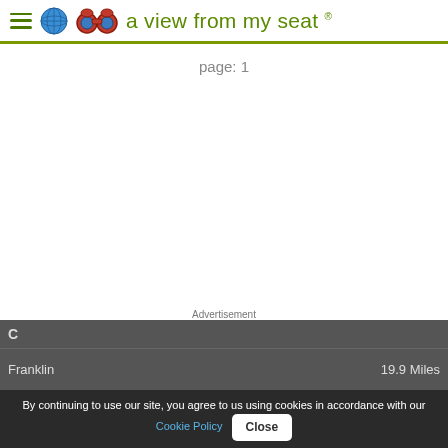a view from my seat ®
page: 1
Advertisement
By continuing to use our site, you agree to us using cookies in accordance with our Cookie Policy  Close